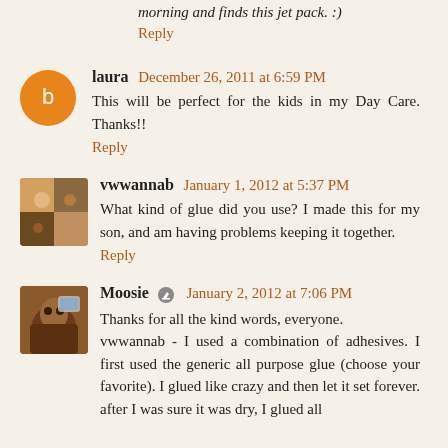morning and finds this jet pack. :)
Reply
laura  December 26, 2011 at 6:59 PM
This will be perfect for the kids in my Day Care. Thanks!!
Reply
vwwannab  January 1, 2012 at 5:37 PM
What kind of glue did you use? I made this for my son, and am having problems keeping it together.
Reply
Moosie  January 2, 2012 at 7:06 PM
Thanks for all the kind words, everyone.
vwwannab - I used a combination of adhesives. I first used the generic all purpose glue (choose your favorite). I glued like crazy and then let it set forever. after I was sure it was dry, I glued all